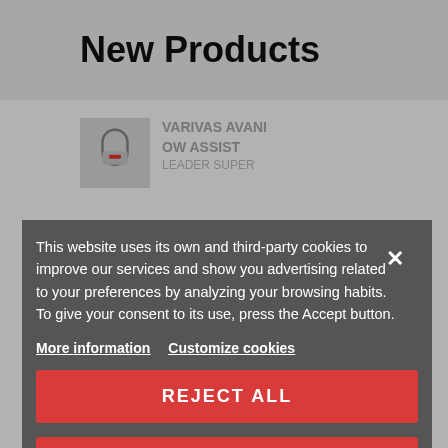New Products
VARIVAS AVANI OW ASSIST LEADER SUPER
review
VARIVAS GANOA
[Figure (screenshot): Cookie consent modal overlay on a website showing New Products page. Modal has dark grey background with close X button, cookie policy text, More information and Customize cookies links, and two red buttons: REJECT ALL and I ACCEPT.]
This website uses its own and third-party cookies to improve our services and show you advertising related to your preferences by analyzing your browsing habits. To give your consent to its use, press the Accept button.
More information   Customize cookies
REJECT ALL
I ACCEPT